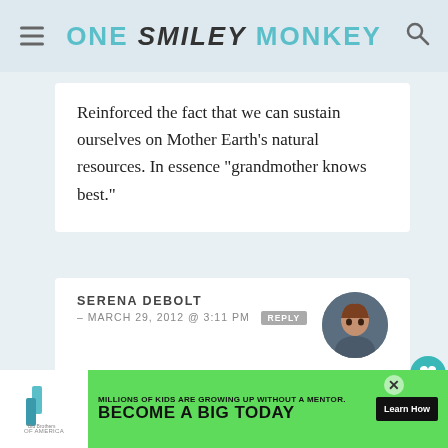ONE SMILEY MONKEY
Reinforced the fact that we can sustain ourselves on Mother Earth's natural resources. In essence “grandmother knows best.”
SERENA DEBOLT - MARCH 29, 2012 @ 3:11 PM REPLY
They are the proud producers of Canada’s first organic baby skincare line.
[Figure (infographic): Advertisement banner for Big Brothers Big Sisters: MILLIONS OF KIDS ARE GROWING UP WITHOUT A MENTOR. BECOME A BIG TODAY.]